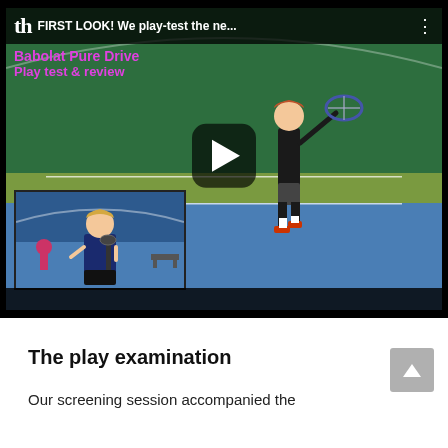[Figure (screenshot): YouTube-style video thumbnail showing a tennis player hitting a shot on an indoor court with green background, with an overlay text 'FIRST LOOK! We play-test the ne...' and a play button. An inset thumbnail shows a young man holding a tennis racket. Overlay text reads 'Babolat Pure Drive Play test & review' in magenta.]
The play examination
Our screening session accompanied the